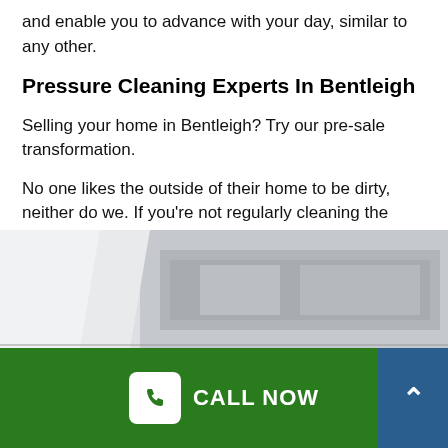and enable you to advance with your day, similar to any other.
Pressure Cleaning Experts In Bentleigh
Selling your home in Bentleigh? Try our pre-sale transformation.
No one likes the outside of their home to be dirty, neither do we. If you're not regularly cleaning the outside of your home, possibilities are you've got a lot of dirt buildup that can end up being tough to get off.
[Figure (photo): Photo of a building exterior, showing a white/grey facade being pressure cleaned]
CALL NOW